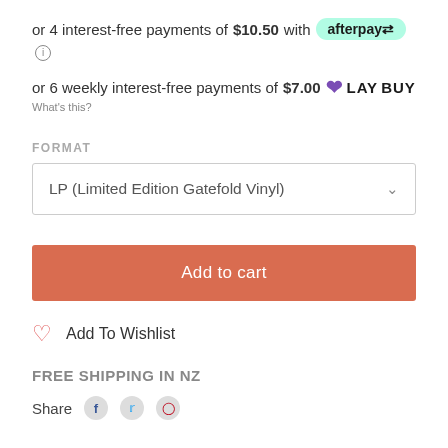or 4 interest-free payments of $10.50 with afterpay
or 6 weekly interest-free payments of $7.00 LAYBUY
What's this?
FORMAT
LP (Limited Edition Gatefold Vinyl)
Add to cart
Add To Wishlist
FREE SHIPPING IN NZ
Share